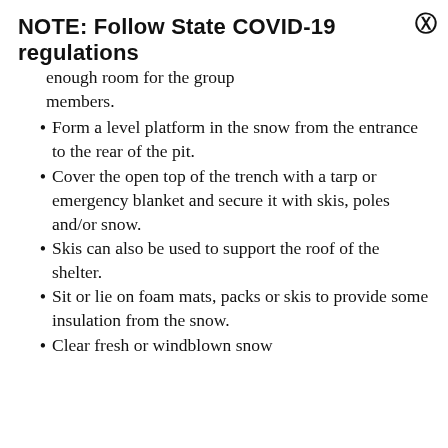NOTE: Follow State COVID-19 regulations
enough room for the group members.
Form a level platform in the snow from the entrance to the rear of the pit.
Cover the open top of the trench with a tarp or emergency blanket and secure it with skis, poles and/or snow.
Skis can also be used to support the roof of the shelter.
Sit or lie on foam mats, packs or skis to provide some insulation from the snow.
Clear fresh or windblown snow